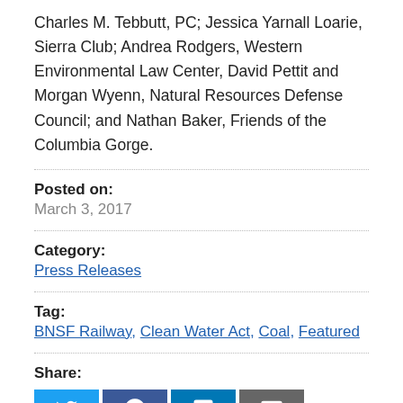Charles M. Tebbutt, PC; Jessica Yarnall Loarie, Sierra Club; Andrea Rodgers, Western Environmental Law Center, David Pettit and Morgan Wyenn, Natural Resources Defense Council; and Nathan Baker, Friends of the Columbia Gorge.
Posted on:
March 3, 2017
Category:
Press Releases
Tag:
BNSF Railway, Clean Water Act, Coal, Featured
Share: